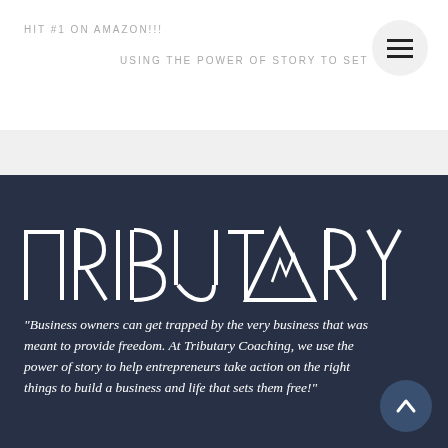HIT #1 ON AMAZON!!!
USING THE POWER OF STORY TO SET
[Figure (logo): TRIBUTARY text logo with triangle/mountain icon in place of the letter A]
“Business owners can get trapped by the very business that was meant to provide freedom. At Tributary Coaching, we use the power of story to help entrepreneurs take action on the right things to build a business and life that sets them free!”